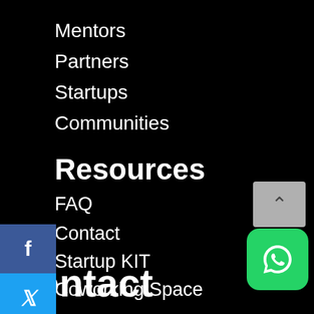Mentors
Partners
Startups
Communities
Resources
FAQ
Contact
Startup KIT
Coworking Space
Contact
[Figure (infographic): Social media sidebar buttons: Facebook (blue), Twitter (light blue), LinkedIn (dark blue), WhatsApp (green)]
[Figure (infographic): Scroll-to-top button (grey with up arrow) and floating WhatsApp button (green with phone icon)]